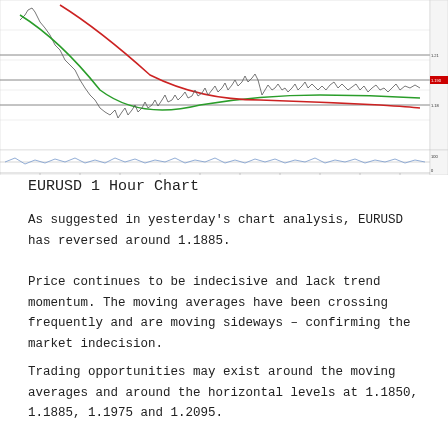[Figure (continuous-plot): EURUSD 1 Hour Chart showing candlestick price action with two moving averages (red and green), horizontal support/resistance levels, and a momentum oscillator subpanel at the bottom. The price shows a decline then sideways movement around 1.1885 area. Chart has price scale on the right and time axis at the bottom.]
EURUSD 1 Hour Chart
As suggested in yesterday's chart analysis, EURUSD has reversed around 1.1885.
Price continues to be indecisive and lack trend momentum. The moving averages have been crossing frequently and are moving sideways – confirming the market indecision.
Trading opportunities may exist around the moving averages and around the horizontal levels at 1.1850, 1.1885, 1.1975 and 1.2095.